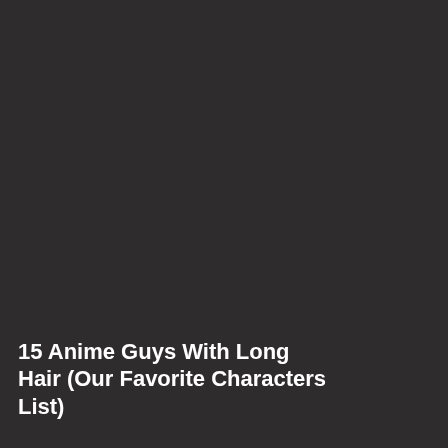[Figure (photo): Dark background image, nearly solid dark charcoal/near-black color filling most of the page]
15 Anime Guys With Long Hair (Our Favorite Characters List)